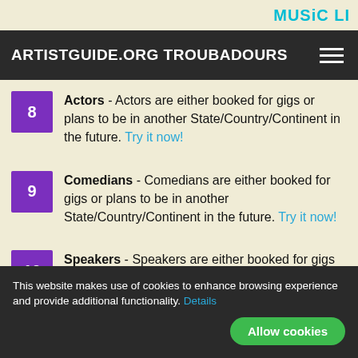MUSiC LI
ARTISTGUIDE.ORG TROUBADOURS
8 Actors - Actors are either booked for gigs or plans to be in another State/Country/Continent in the future. Try it now!
9 Comedians - Comedians are either booked for gigs or plans to be in another State/Country/Continent in the future. Try it now!
10 Speakers - Speakers are either booked for gigs or plans to be in another
This website makes use of cookies to enhance browsing experience and provide additional functionality. Details
Allow cookies